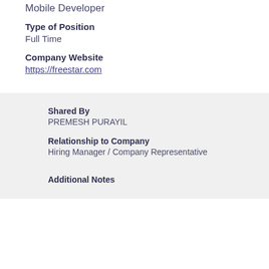Mobile Developer
Type of Position
Full Time
Company Website
https://freestar.com
Shared By
PREMESH PURAYIL
Relationship to Company
Hiring Manager / Company Representative
Additional Notes